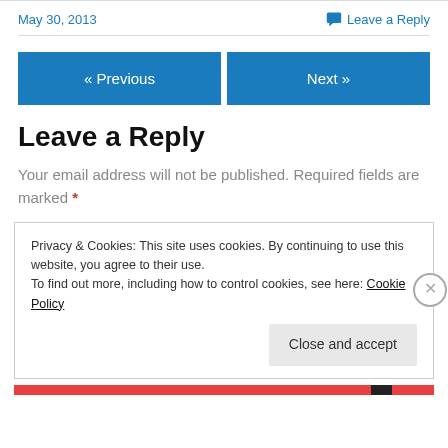May 30, 2013
Leave a Reply
« Previous
Next »
Leave a Reply
Your email address will not be published. Required fields are marked *
Privacy & Cookies: This site uses cookies. By continuing to use this website, you agree to their use.
To find out more, including how to control cookies, see here: Cookie Policy
Close and accept